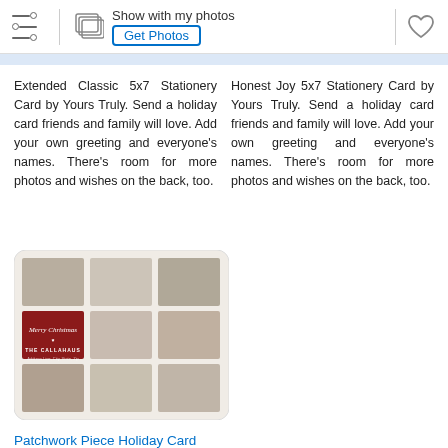Show with my photos | Get Photos
Extended Classic 5x7 Stationery Card by Yours Truly. Send a holiday card friends and family will love. Add your own greeting and everyone's names. There's room for more photos and wishes on the back, too.
Honest Joy 5x7 Stationery Card by Yours Truly. Send a holiday card friends and family will love. Add your own greeting and everyone's names. There's room for more photos and wishes on the back, too.
[Figure (photo): Patchwork holiday card preview showing a 3x3 photo grid collage with family photos and a dark red center cell with 'Merry Christmas - THE CALLAHAUS' text]
Patchwork Piece Holiday Card
Plaid Patch 5x7 Stationery Card by Yours Truly. Send a holiday